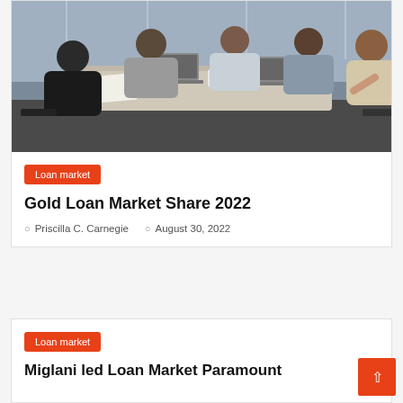[Figure (photo): Business meeting photo showing five professionals seated around a conference table with laptops, papers, and a coffee mug. A woman on the right is speaking and gesturing.]
Loan market
Gold Loan Market Share 2022
Priscilla C. Carnegie   August 30, 2022
Loan market
Miglani led Loan Market Paramount